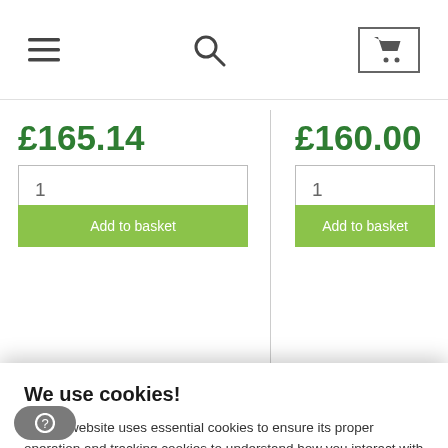[Figure (screenshot): E-commerce website navigation bar with hamburger menu, search icon, and cart icon in a bordered box]
£165.14
£160.00
We use cookies!
Hi, this website uses essential cookies to ensure its proper operation and tracking cookies to understand how you interact with it. The latter will be set only after consent. Let me choose
Accept all
Reject all